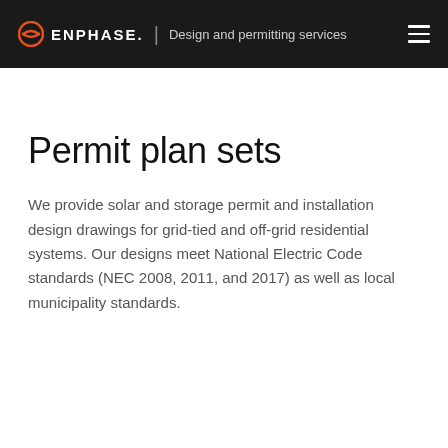ENPHASE. | Design and permitting services
Permit plan sets
We provide solar and storage permit and installation design drawings for grid-tied and off-grid residential systems. Our designs meet National Electric Code standards (NEC 2008, 2011, and 2017) as well as local municipality standards.